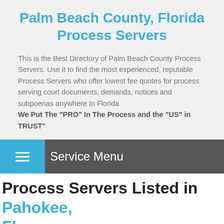Palm Beach County, Florida Process Servers
This is the Best Directory of Palm Beach County Process Servers. Use it to find the most experienced, reputable Process Servers who offer lowest fee quotes for process serving court documents, demands, notices and subpoenas anywhere In Florida We Put The "PRO" In The Process and the "US" in TRUST"
Service Menu
Process Servers Listed in Pahokee, FL